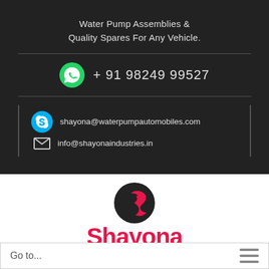Water Pump Assemblies & Quality Spares For Any Vehicle.
+ 91 98249 99527
shayona@waterpumpautomobiles.com
info@shayonaindustries.in
[Figure (logo): Shayona Industries logo with stylized S emblem in black and red, and company name in red and dark text]
Go to...